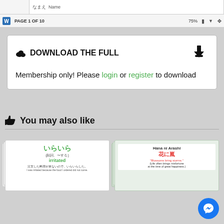PAGE 1 OF 10  75%
DOWNLOAD THE FULL
Membership only! Please login or register to download
You may also like
[Figure (screenshot): Flashcard showing Japanese いらいら (irritated) with example sentence]
[Figure (screenshot): Flashcard showing Hana ni Arashi / 花に嵐 with quote Blossoms bring storms]